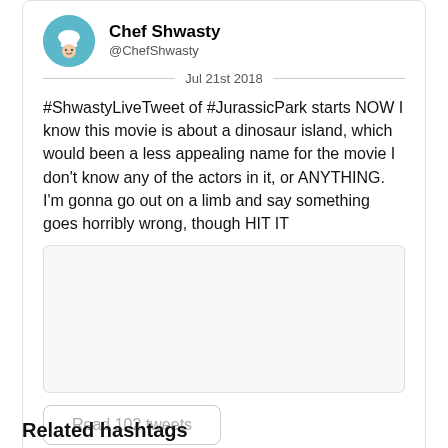Chef Shwasty
@ChefShwasty
Jul 21st 2018
#ShwastyLiveTweet of #JurassicPark starts NOW I know this movie is about a dinosaur island, which would been a less appealing name for the movie I don't know any of the actors in it, or ANYTHING. I'm gonna go out on a limb and say something goes horribly wrong, though HIT IT
[Figure (other): Empty media preview box]
Read 102 tweets
Related hashtags